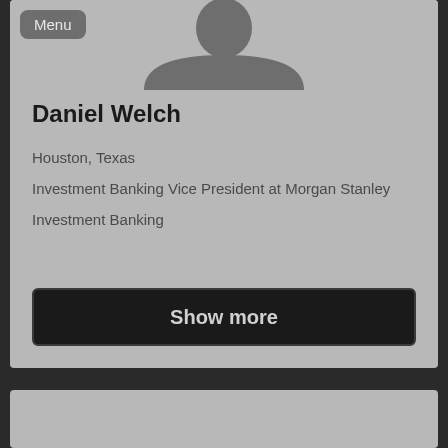[Figure (screenshot): Profile card screenshot showing a person silhouette avatar with menu button overlay]
Daniel Welch
Houston, Texas
Investment Banking Vice President at Morgan Stanley
Investment Banking
Show more